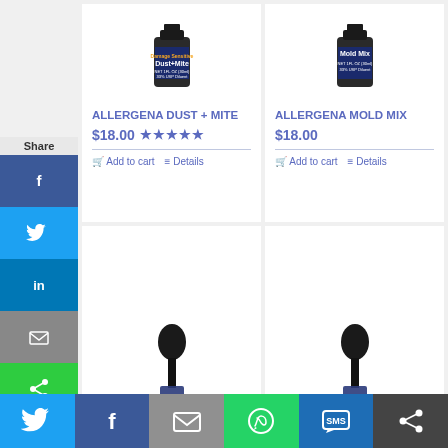[Figure (photo): Allergena Dust + Mite product bottle, dark glass bottle with blue label]
ALLERGENA DUST + MITE
$18.00 ★★★★★
Add to cart   Details
[Figure (photo): Allergena Mold Mix product bottle, dark glass bottle with blue label]
ALLERGENA MOLD MIX
$18.00
Add to cart   Details
[Figure (photo): Dropper bottle top with black rubber bulb, product partially visible]
[Figure (photo): Dropper bottle top with black rubber bulb, product partially visible]